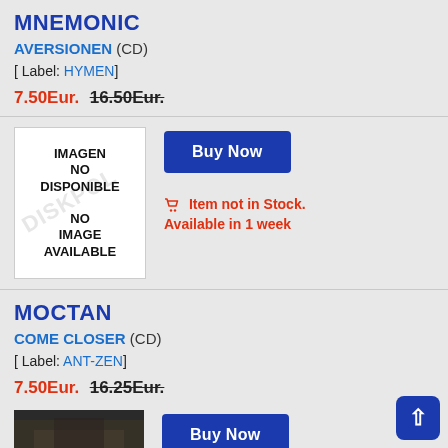MNEMONIC
AVERSIONEN (CD)
[ Label: HYMEN]
7.50Eur. 16.50Eur.
[Figure (other): No image available placeholder box with watermark DISKPOL text]
Buy Now
Item not in Stock. Available in 1 week
MOCTAN
COME CLOSER (CD)
[ Label: ANT-ZEN]
7.50Eur. 16.25Eur.
[Figure (photo): Partial product image at bottom of page]
Buy Now button (partial)